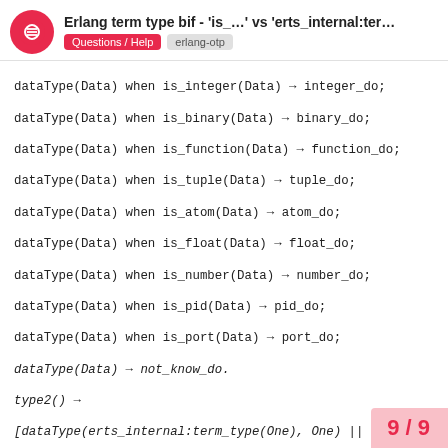Erlang term type bif - 'is_...' vs 'erts_internal:ter...' | Questions / Help | erlang-otp
dataType(Data) when is_integer(Data) → integer_do;
dataType(Data) when is_binary(Data) → binary_do;
dataType(Data) when is_function(Data) → function_do;
dataType(Data) when is_tuple(Data) → tuple_do;
dataType(Data) when is_atom(Data) → atom_do;
dataType(Data) when is_float(Data) → float_do;
dataType(Data) when is_number(Data) → number_do;
dataType(Data) when is_pid(Data) → pid_do;
dataType(Data) when is_port(Data) → port_do;
dataType(Data) → not_know_do.
type2() →
[dataType(erts_internal:term_type(One), One) || One ← ? types],
ok.
dataType(nil, Data) when is_list(Data) → list_do;
dataType(list, Data) when is_list(Data) → list_do;
dataType(fixnum, Data) when is_integer(Data) → integer_do;
dataType(bignum, Data) when is_intege
9 / 9